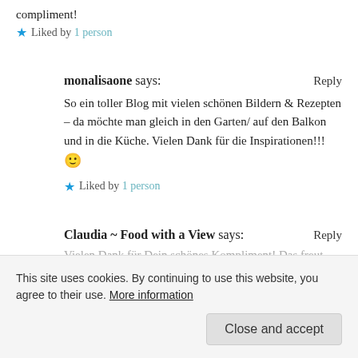compliment!
★ Liked by 1 person
monalisaone says:
Reply
So ein toller Blog mit vielen schönen Bildern & Rezepten – da möchte man gleich in den Garten/ auf den Balkon und in die Küche. Vielen Dank für die Inspirationen!!! 🙂
★ Liked by 1 person
Claudia ~ Food with a View says:
Reply
Vielen Dank für Dein schönes Kompliment! Das freut uns
This site uses cookies. By continuing to use this website, you agree to their use. More information
Close and accept